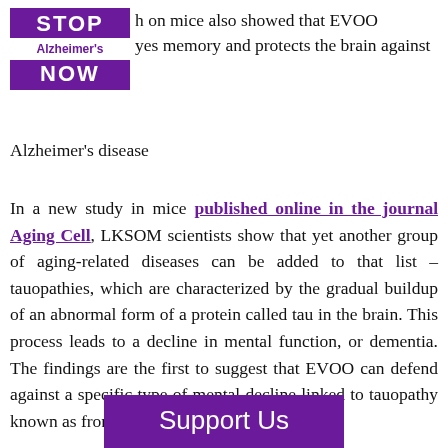[Figure (logo): Stop Alzheimer's Now logo — purple block with white text STOP, white band with purple text Alzheimer's, purple band with white text NOW]
h on mice also showed that EVOO yes memory and protects the brain against Alzheimer's disease
In a new study in mice published online in the journal Aging Cell, LKSOM scientists show that yet another group of aging-related diseases can be added to that list – tauopathies, which are characterized by the gradual buildup of an abnormal form of a protein called tau in the brain. This process leads to a decline in mental function, or dementia. The findings are the first to suggest that EVOO can defend against a specific type of mental decline linked to tauopathy known as frontotemporal dementia.
Support Us